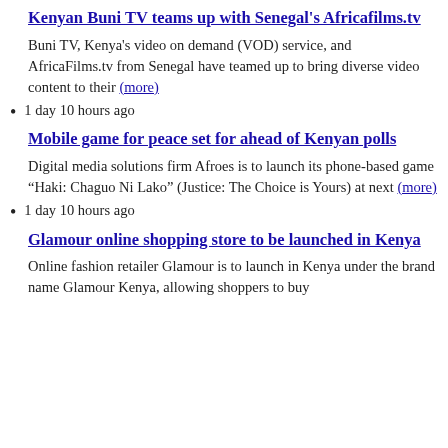Kenyan Buni TV teams up with Senegal's Africafilms.tv
Buni TV, Kenya's video on demand (VOD) service, and AfricaFilms.tv from Senegal have teamed up to bring diverse video content to their (more)
1 day 10 hours ago
Mobile game for peace set for ahead of Kenyan polls
Digital media solutions firm Afroes is to launch its phone-based game “Haki: Chaguo Ni Lako” (Justice: The Choice is Yours) at next (more)
1 day 10 hours ago
Glamour online shopping store to be launched in Kenya
Online fashion retailer Glamour is to launch in Kenya under the brand name Glamour Kenya, allowing shoppers to buy beauty and fashion (more)